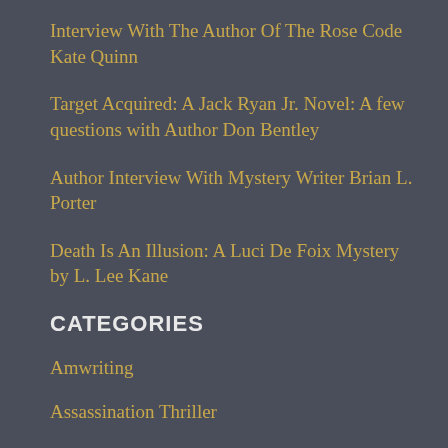Interview With The Author Of The Rose Code Kate Quinn
Target Acquired: A Jack Ryan Jr. Novel: A few questions with Author Don Bentley
Author Interview With Mystery Writer Brian L. Porter
Death Is An Illusion: A Luci De Foix Mystery by L. Lee Kane
CATEGORIES
Amwriting
Assassination Thriller
Audio Forensics
Audiobook